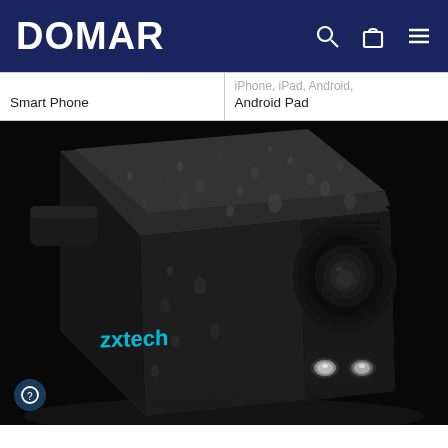DOMAR
| Smart Phone | iPhone, iPad, Android, Android Pad |
[Figure (photo): Close-up photo of a dark grey Zxtech bullet security camera covered in water droplets, set against a black background. The camera faces the viewer at a slight angle, showing the lens, two LED illuminators, and the 'zxtech' brand name in cyan on the side.]